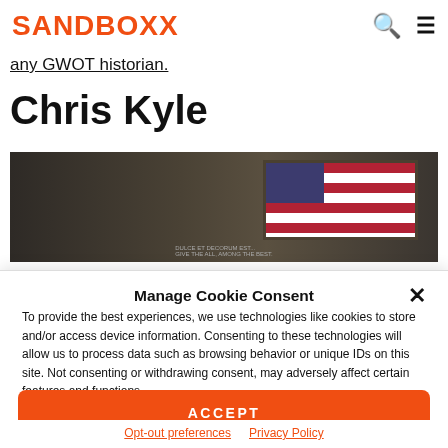SANDBOXX
any GWOT historian.
Chris Kyle
[Figure (photo): Photo showing an American flag framed on a wall in a dark room]
Manage Cookie Consent
To provide the best experiences, we use technologies like cookies to store and/or access device information. Consenting to these technologies will allow us to process data such as browsing behavior or unique IDs on this site. Not consenting or withdrawing consent, may adversely affect certain features and functions.
ACCEPT
Opt-out preferences  Privacy Policy